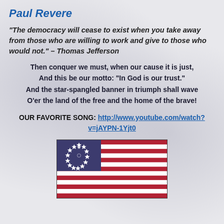Paul Revere
“The democracy will cease to exist when you take away from those who are willing to work and give to those who would not.” – Thomas Jefferson
Then conquer we must, when our cause it is just,
And this be our motto: “In God is our trust.”
And the star-spangled banner in triumph shall wave
O’er the land of the free and the home of the brave!
OUR FAVORITE SONG: http://www.youtube.com/watch?v=jAYPN-1Yjt0
[Figure (illustration): Betsy Ross American flag with 13 stars in a circle on a dark blue canton, and alternating red and white stripes on the fly half]